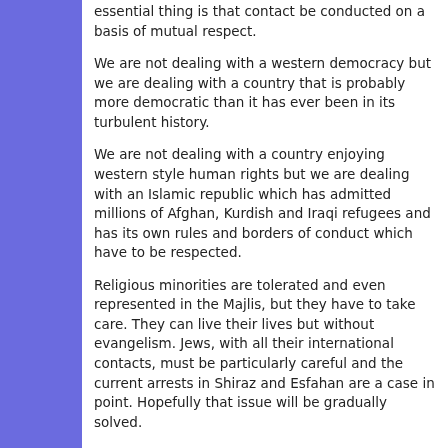essential thing is that contact be conducted on a basis of mutual respect.
We are not dealing with a western democracy but we are dealing with a country that is probably more democratic than it has ever been in its turbulent history.
We are not dealing with a country enjoying western style human rights but we are dealing with an Islamic republic which has admitted millions of Afghan, Kurdish and Iraqi refugees and has its own rules and borders of conduct which have to be respected.
Religious minorities are tolerated and even represented in the Majlis, but they have to take care. They can live their lives but without evangelism. Jews, with all their international contacts, must be particularly careful and the current arrests in Shiraz and Esfahan are a case in point. Hopefully that issue will be gradually solved.
The Bahai community remain a special case. They are...